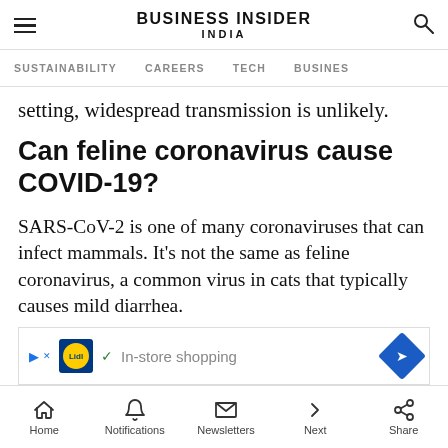BUSINESS INSIDER INDIA
SUSTAINABILITY   CAREERS   TECH   BUSINESS
setting, widespread transmission is unlikely.
Can feline coronavirus cause COVID-19?
SARS-CoV-2 is one of many coronaviruses that can infect mammals. It's not the same as feline coronavirus, a common virus in cats that typically causes mild diarrhea.
[Figure (other): Advertisement banner for Lidl featuring In-store shopping text with play button, Lidl logo, checkmark and arrow icons]
Home   Notifications   Newsletters   Next   Share